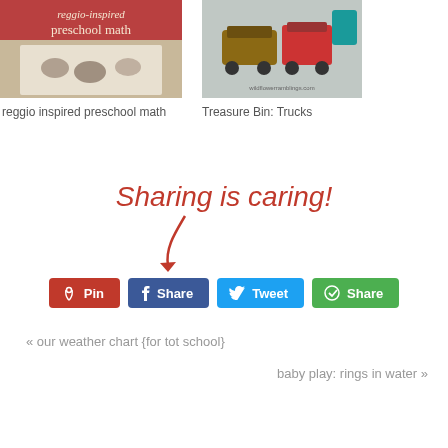[Figure (photo): Thumbnail of reggio-inspired preschool math post showing stones in a divided tray]
[Figure (photo): Thumbnail of Treasure Bin: Trucks post showing toy trucks on a table]
reggio inspired preschool math
Treasure Bin: Trucks
[Figure (illustration): Handwritten cursive text 'Sharing is caring!' in red with a red curved arrow pointing down to social share buttons]
Pin
Share
Tweet
Share
« our weather chart {for tot school}
baby play: rings in water »